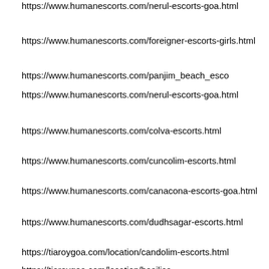https://www.humanescorts.com/nerul-escorts-goa.html
https://www.humanescorts.com/foreigner-escorts-girls.html
https://www.humanescorts.com/panjim_beach_esco...
https://www.humanescorts.com/nerul-escorts-goa.html
https://www.humanescorts.com/colva-escorts.html
https://www.humanescorts.com/cuncolim-escorts.html
https://www.humanescorts.com/canacona-escorts-goa.html
https://www.humanescorts.com/dudhsagar-escorts.html
https://tiaroygoa.com/location/candolim-escorts.html
https://tiaroygoa.com/location/basilica...